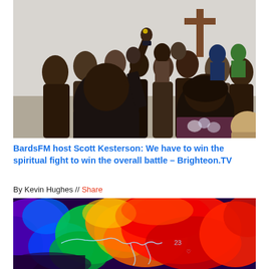[Figure (photo): People in a church congregation, viewed from behind, with a man raising his hand in worship. A wooden cross is visible on the wall in the background.]
BardsFM host Scott Kesterson: We have to win the spiritual fight to win the overall battle – Brighteon.TV
By Kevin Hughes // Share
[Figure (photo): Satellite or radar image showing a weather system or storm, with colorful heat-map style coloring in purple, blue, green, yellow, orange, and red. A thin white/blue outline of landmasses is visible.]